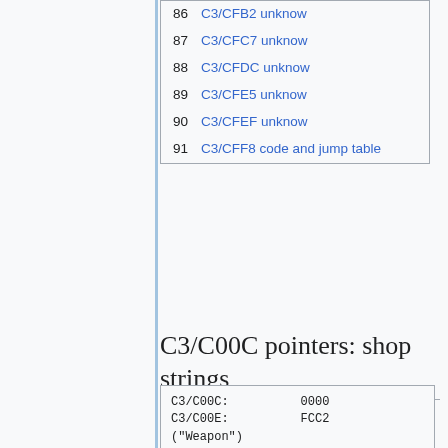86 C3/CFB2 unknow
87 C3/CFC7 unknow
88 C3/CFDC unknow
89 C3/CFE5 unknow
90 C3/CFEF unknow
91 C3/CFF8 code and jump table
C3/C00C pointers: shop strings
C3/C00C:          0000
C3/C00E:          FCC2
("Weapon")
C3/C010:          05C3
("Armor")
C3/C012:          0DC3
("Item")
C3/C014:          14C3
("Relics")
C3/C016:          1DC3
("Vendor")